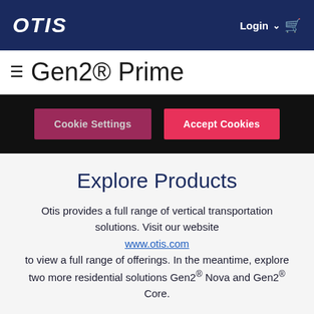OTIS — Login
Gen2® Prime
Cookie Settings   Accept Cookies
Explore Products
Otis provides a full range of vertical transportation solutions. Visit our website www.otis.com to view a full range of offerings. In the meantime, explore two more residential solutions Gen2® Nova and Gen2® Core.
[Figure (logo): Gen2 Nova product card with OTIS logo]